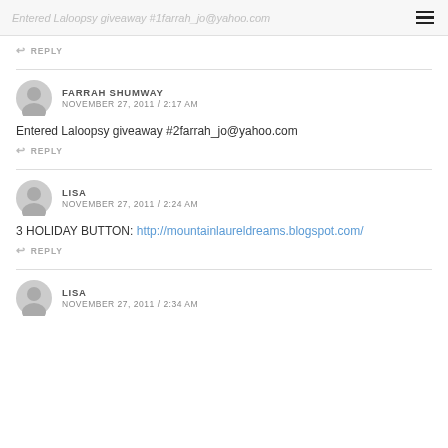Entered Laloopsy giveaway #1farrah_jo@yahoo.com
REPLY
FARRAH SHUMWAY
NOVEMBER 27, 2011 / 2:17 AM
Entered Laloopsy giveaway #2farrah_jo@yahoo.com
REPLY
LISA
NOVEMBER 27, 2011 / 2:24 AM
3 HOLIDAY BUTTON: http://mountainlaureldreams.blogspot.com/
REPLY
LISA
NOVEMBER 27, 2011 / 2:34 AM